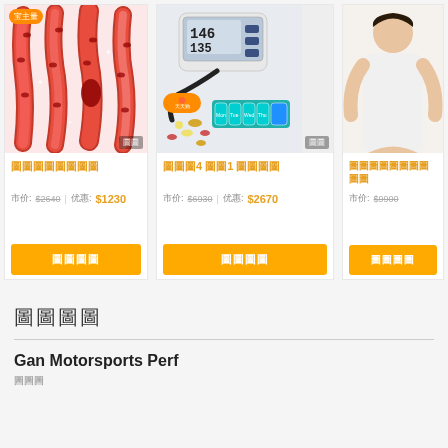[Figure (illustration): Blood vessel anatomy illustration showing cross-sections with red blood cells, some vessels showing blockage or plaque]
店主量
圖圖圖圖圖圖圖圖
市价: $2640  优惠: $1230
[Figure (photo): Blood pressure monitor with digital display showing 146/135, black cuff, teal weekly pill organizer, and scattered pills]
天天购
圖圖圖4 圖圖1 圖圖圖圖
市价: $6930  优惠: $2670
[Figure (photo): Person in white clothing, partial view]
圖圖圖圖圖圖圖圖圖圖
市价: $9900
圖圖圖圖
Gan Motorsports Perf
圖圖圖